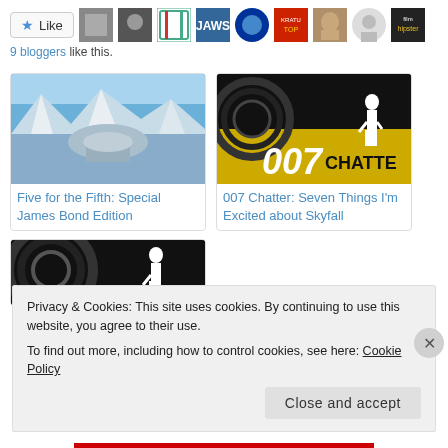[Figure (other): Like button with star icon and 9 blogger avatar thumbnails]
9 bloggers like this.
[Figure (photo): Mountain snowy landscape aerial view with observatory]
Five for the Fifth: Special James Bond Edition
[Figure (other): 007 gun barrel logo with text '007 CHATTE' in gold and black]
007 Chatter: Seven Things I'm Excited about Skyfall
[Figure (other): Partial 007 gun barrel logo image, cut off]
Privacy & Cookies: This site uses cookies. By continuing to use this website, you agree to their use.
To find out more, including how to control cookies, see here: Cookie Policy